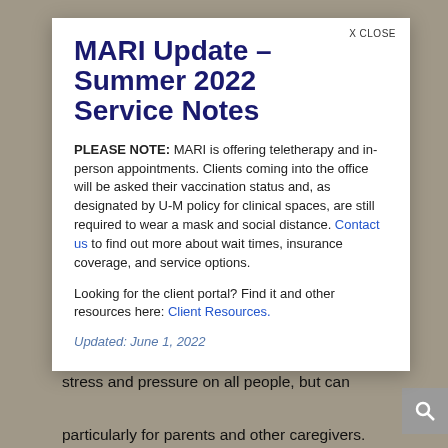MARI Update - Summer 2022 Service Notes
PLEASE NOTE: MARI is offering teletherapy and in-person appointments. Clients coming into the office will be asked their vaccination status and, as designated by U-M policy for clinical spaces, are still required to wear a mask and social distance. Contact us to find out more about wait times, insurance coverage, and service options.
Looking for the client portal? Find it and other resources here: Client Resources.
Updated: June 1, 2022
not having a job can be a source of immense stress and pressure on all people, but can particularly for parents and other caregivers.